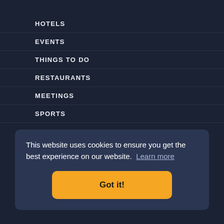HOTELS
EVENTS
THINGS TO DO
RESTAURANTS
MEETINGS
SPORTS
ABOUT
This website uses cookies to ensure you get the best experience on our website. Learn more
Got it!